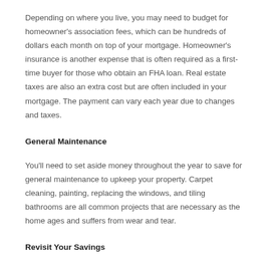Depending on where you live, you may need to budget for homeowner's association fees, which can be hundreds of dollars each month on top of your mortgage. Homeowner's insurance is another expense that is often required as a first-time buyer for those who obtain an FHA loan. Real estate taxes are also an extra cost but are often included in your mortgage. The payment can vary each year due to changes and taxes.
General Maintenance
You'll need to set aside money throughout the year to save for general maintenance to upkeep your property. Carpet cleaning, painting, replacing the windows, and tiling bathrooms are all common projects that are necessary as the home ages and suffers from wear and tear.
Revisit Your Savings